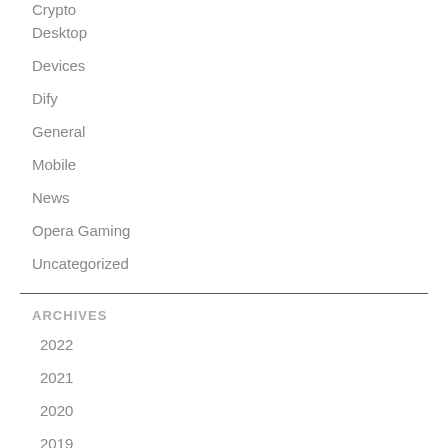Crypto
Desktop
Devices
Dify
General
Mobile
News
Opera Gaming
Uncategorized
ARCHIVES
2022
2021
2020
2019
2018